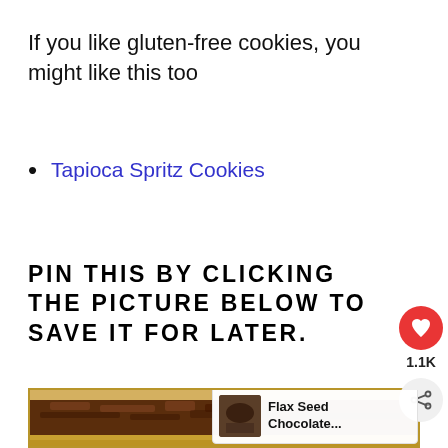If you like gluten-free cookies, you might like this too
Tapioca Spritz Cookies
PIN THIS BY CLICKING THE PICTURE BELOW TO SAVE IT FOR LATER.
[Figure (photo): Photo of a cross-section of a chocolate layered cookie bar with a golden crust, shown close-up inside a brown-bordered frame]
WHAT'S NEXT → Flax Seed Chocolate...